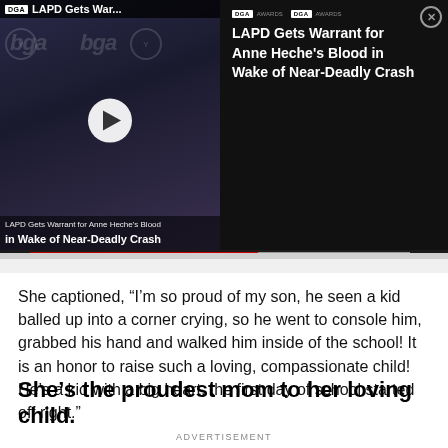[Figure (screenshot): Video thumbnail showing a person at a DGA awards event with a play button overlay and caption 'LAPD Gets Warrant for Anne Heche's Blood in Wake of Near-Deadly Crash']
LAPD Gets Warrant for Anne Heche's Blood in Wake of Near-Deadly Crash
She captioned, “I’m so proud of my son, he seen a kid balled up into a corner crying, so he went to console him, grabbed his hand and walked him inside of the school! It is an honor to raise such a loving, compassionate child! He’s a kid with a big heart, the first day of school started off right.”
She’s the proudest mom to her loving child.
ADVERTISEMENT